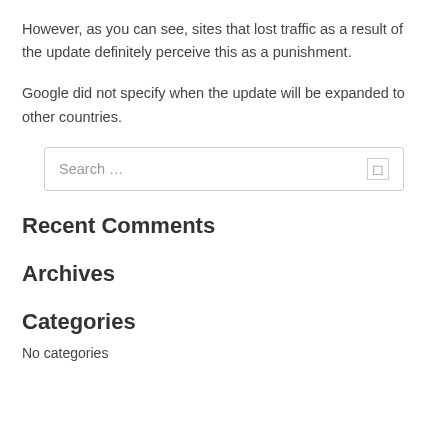However, as you can see, sites that lost traffic as a result of the update definitely perceive this as a punishment.
Google did not specify when the update will be expanded to other countries.
Search …
Recent Comments
Archives
Categories
No categories